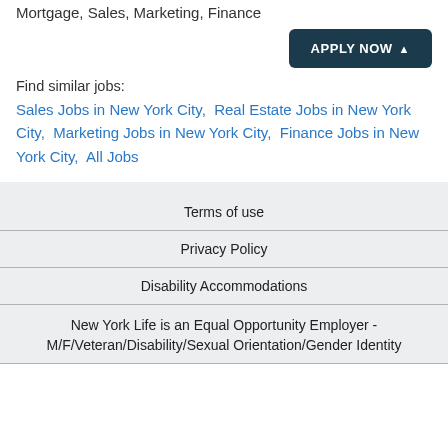Mortgage, Sales, Marketing, Finance
APPLY NOW
Find similar jobs:
Sales Jobs in New York City,  Real Estate Jobs in New York City,  Marketing Jobs in New York City,  Finance Jobs in New York City,  All Jobs
Terms of use
Privacy Policy
Disability Accommodations
New York Life is an Equal Opportunity Employer - M/F/Veteran/Disability/Sexual Orientation/Gender Identity